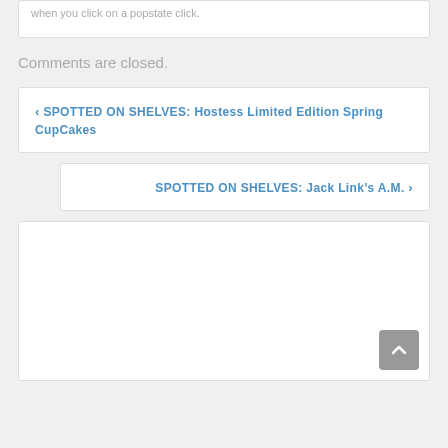when you click on a popstate click.
Comments are closed.
‹ SPOTTED ON SHELVES: Hostess Limited Edition Spring CupCakes
SPOTTED ON SHELVES: Jack Link's A.M. ›
[Figure (other): White content card with scroll-to-top button in the bottom right corner]